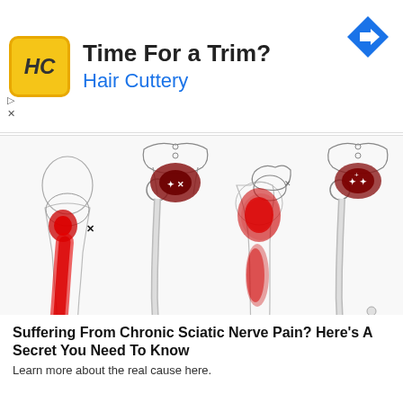[Figure (screenshot): Hair Cuttery advertisement banner with logo showing 'HC' in yellow, text 'Time For a Trim?' and 'Hair Cuttery' in blue, with a blue navigation arrow icon on the right]
[Figure (illustration): Four medical anatomical illustrations of human legs and hips (viewed from side/back) showing sciatic nerve pain patterns with red highlighted areas indicating pain zones — including gluteal region, back of thigh, and knee area — alongside skeletal views of the hip/pelvis]
Suffering From Chronic Sciatic Nerve Pain? Here's A Secret You Need To Know
Learn more about the real cause here.